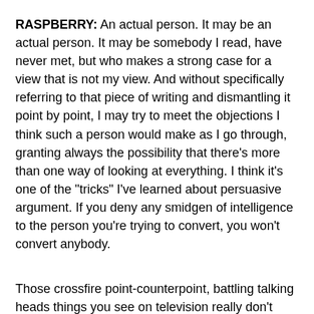RASPBERRY: An actual person. It may be an actual person. It may be somebody I read, have never met, but who makes a strong case for a view that is not my view. And without specifically referring to that piece of writing and dismantling it point by point, I may try to meet the objections I think such a person would make as I go through, granting always the possibility that there's more than one way of looking at everything. I think it's one of the "tricks" I've learned about persuasive argument. If you deny any smidgen of intelligence to the person you're trying to convert, you won't convert anybody.
Those crossfire point-counterpoint, battling talking heads things you see on television really don't persuade anybody. They are almost entirely two preachers preaching to their own choirs. They're not calculated to convert. I'd like to think